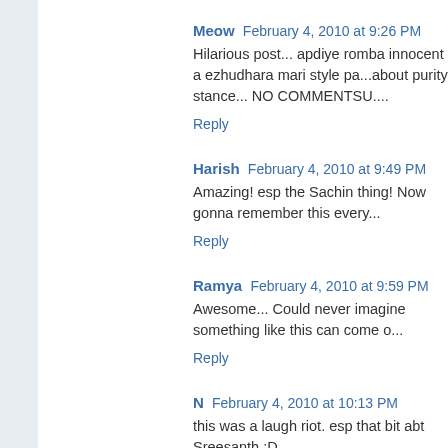Meow  February 4, 2010 at 9:26 PM
Hilarious post... apdiye romba innocent a ezhudhara mari style pa...about purity stance... NO COMMENTSU....
Reply
Harish  February 4, 2010 at 9:49 PM
Amazing! esp the Sachin thing! Now gonna remember this every...
Reply
Ramya  February 4, 2010 at 9:59 PM
Awesome... Could never imagine something like this can come o...
Reply
N  February 4, 2010 at 10:13 PM
this was a laugh riot. esp that bit abt Sreesanth :D